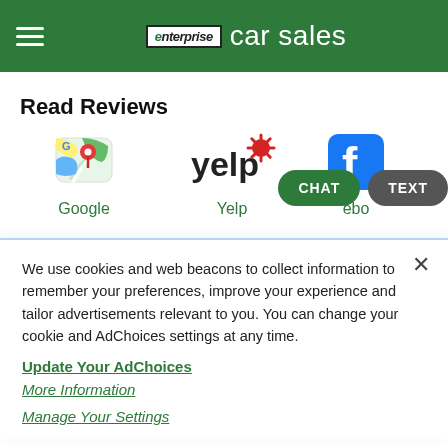enterprise car sales
Read Reviews
[Figure (logo): Google Maps icon, Yelp logo, Facebook logo with review platform links and CHAT/TEXT buttons overlay]
We use cookies and web beacons to collect information to remember your preferences, improve your experience and tailor advertisements relevant to you. You can change your cookie and AdChoices settings at any time.
Update Your AdChoices
More Information
Manage Your Settings